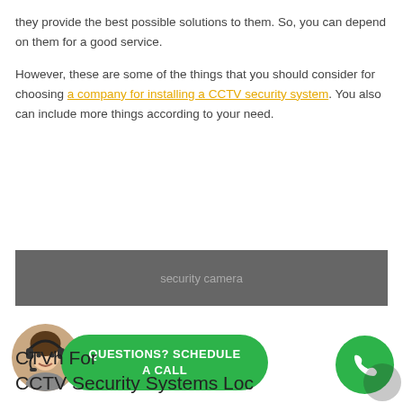they provide the best possible solutions to them. So, you can depend on them for a good service.

However, these are some of the things that you should consider for choosing a company for installing a CCTV security system. You also can include more things according to your need.
[Figure (photo): Grey placeholder box with text 'security camera']
[Figure (infographic): Bottom bar with avatar of woman with headset, green rounded button reading 'QUESTIONS? SCHEDULE A CALL', phone icon circle, and partial title text 'CTVh For CCTV Security Systems Loc']